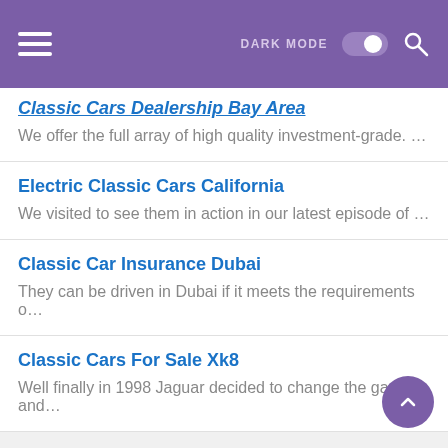DARK MODE [toggle]
Classic Cars Dealership Bay Area
We offer the full array of high quality investment-grade. …
Electric Classic Cars California
We visited to see them in action in our latest episode of …
Classic Car Insurance Dubai
They can be driven in Dubai if it meets the requirements o…
Classic Cars For Sale Xk8
Well finally in 1998 Jaguar decided to change the game and…